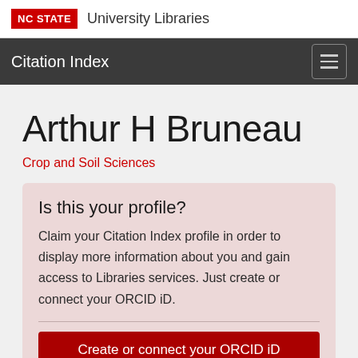NC STATE University Libraries
Citation Index
Arthur H Bruneau
Crop and Soil Sciences
Is this your profile?
Claim your Citation Index profile in order to display more information about you and gain access to Libraries services. Just create or connect your ORCID iD.
Create or connect your ORCID iD